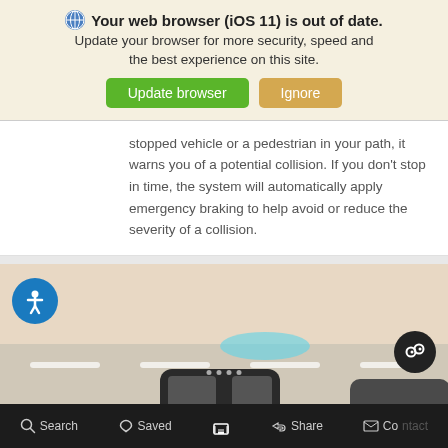Your web browser (iOS 11) is out of date. Update your browser for more security, speed and the best experience on this site.
stopped vehicle or a pedestrian in your path, it warns you of a potential collision. If you don't stop in time, the system will automatically apply emergency braking to help avoid or reduce the severity of a collision.
[Figure (illustration): Road scene showing top-down view of a car with collision avoidance system active, with a blue detection arc in front of the vehicle on a road with lane markings. An accessibility icon (person in circle) is shown in the top-left corner of the image.]
Search   Saved   [home icon]   Share   Contact